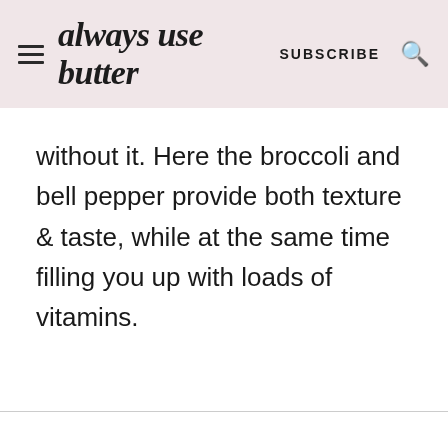always use butter  SUBSCRIBE
without it. Here the broccoli and bell pepper provide both texture & taste, while at the same time filling you up with loads of vitamins.